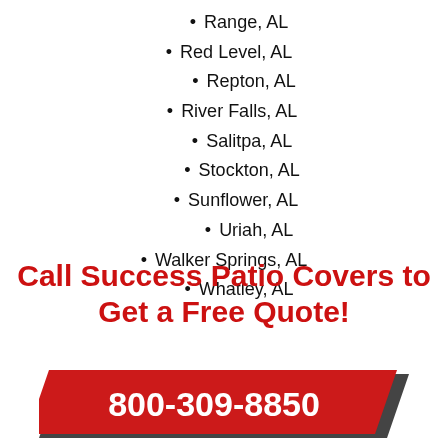Range, AL
Red Level, AL
Repton, AL
River Falls, AL
Salitpa, AL
Stockton, AL
Sunflower, AL
Uriah, AL
Walker Springs, AL
Whatley, AL
Call Success Patio Covers to Get a Free Quote!
[Figure (infographic): Red parallelogram banner with phone number 800-309-8850 in white bold text]